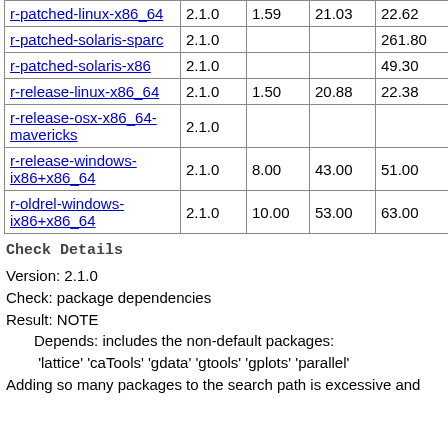| r-patched-linux-x86_64 | 2.1.0 | 1.59 | 21.03 | 22.62 | NOTE |  |
| r-patched-solaris-sparc | 2.1.0 |  |  | 261.80 | NOTE |  |
| r-patched-solaris-x86 | 2.1.0 |  |  | 49.30 | NOTE |  |
| r-release-linux-x86_64 | 2.1.0 | 1.50 | 20.88 | 22.38 | NOTE |  |
| r-release-osx-x86_64-mavericks | 2.1.0 |  |  |  | NOTE |  |
| r-release-windows-ix86+x86_64 | 2.1.0 | 8.00 | 43.00 | 51.00 | NOTE |  |
| r-oldrel-windows-ix86+x86_64 | 2.1.0 | 10.00 | 53.00 | 63.00 | NOTE |  |
Check Details
Version: 2.1.0
Check: package dependencies
Result: NOTE
    Depends: includes the non-default packages:
    'lattice' 'caTools' 'gdata' 'gtools' 'gplots' 'parallel'
    Adding so many packages to the search path is excessive and